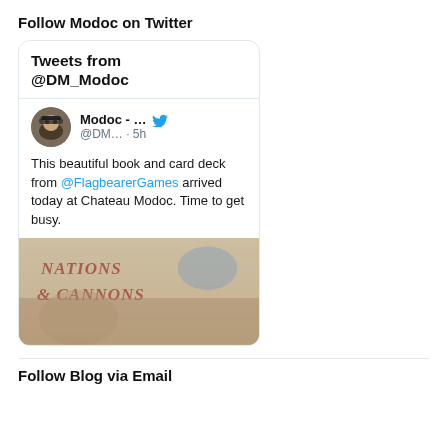Follow Modoc on Twitter
[Figure (screenshot): Twitter widget showing tweets from @DM_Modoc. Includes a tweet by 'Modoc - ...' (@DM... · 5h) with text: 'This beautiful book and card deck from @FlagbearerGames arrived today at Chateau Modoc. Time to get busy.' Below the tweet is a photo of a book titled 'Nations & Cannons'.]
Follow Blog via Email